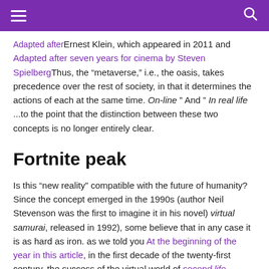Navigation bar with hamburger menu and search icon
Ernest Klein, which appeared in 2011 and Adapted after seven years for cinema by Steven SpielbergThus, the “metaverse,” i.e., the oasis, takes precedence over the rest of society, in that it determines the actions of each at the same time. On-line ” And ” In real life ...to the point that the distinction between these two concepts is no longer entirely clear.
Fortnite peak
Is this “new reality” compatible with the future of humanity? Since the concept emerged in the 1990s (author Neil Stevenson was the first to imagine it in his novel) virtual samurai, released in 1992), some believe that in any case it is as hard as iron. as we told you At the beginning of the year in this article, in the first decade of the twenty-first century, the success of the virtual world of second life Reviving the idea of a digital universe parallel to ours. However, the hype for this game ended up waning over the years, and in the